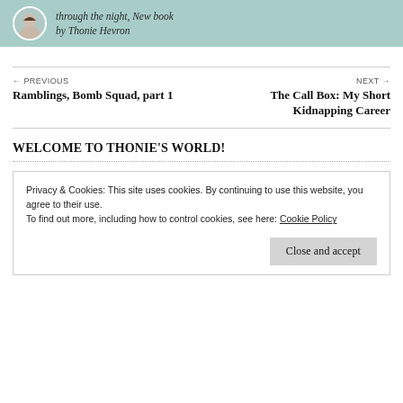[Figure (other): Teal/mint colored banner with a circular avatar portrait and italic text reading 'through the night, New book by Thonie Hevron']
← PREVIOUS
Ramblings, Bomb Squad, part 1
NEXT →
The Call Box: My Short Kidnapping Career
WELCOME TO THONIE'S WORLD!
Privacy & Cookies: This site uses cookies. By continuing to use this website, you agree to their use.
To find out more, including how to control cookies, see here: Cookie Policy
Close and accept